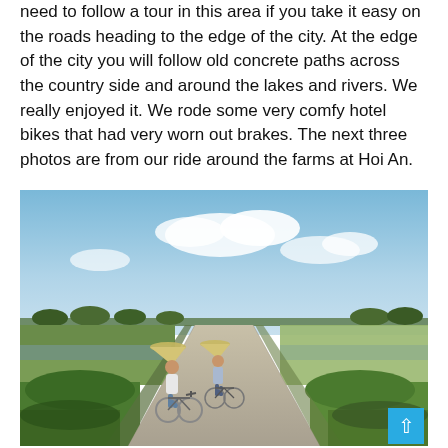need to follow a tour in this area if you take it easy on the roads heading to the edge of the city. At the edge of the city you will follow old concrete paths across the country side and around the lakes and rivers. We really enjoyed it. We rode some very comfy hotel bikes that had very worn out brakes. The next three photos are from our ride around the farms at Hoi An.
[Figure (photo): Two cyclists wearing traditional Vietnamese conical hats riding along a narrow concrete path through flat farmland and rice paddies near Hoi An, with a wide flat landscape, distant tree line, and partly cloudy blue sky.]